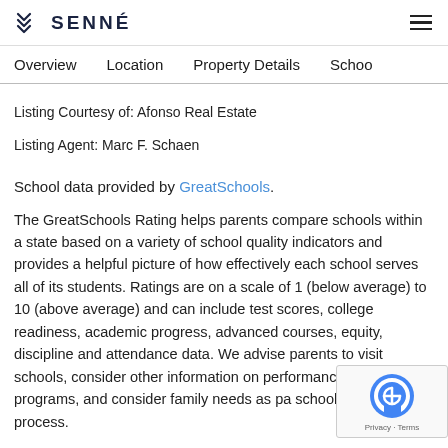SENNÉ
Overview    Location    Property Details    Schoo
Listing Courtesy of: Afonso Real Estate
Listing Agent: Marc F. Schaen
School data provided by GreatSchools.
The GreatSchools Rating helps parents compare schools within a state based on a variety of school quality indicators and provides a helpful picture of how effectively each school serves all of its students. Ratings are on a scale of 1 (below average) to 10 (above average) and can include test scores, college readiness, academic progress, advanced courses, equity, discipline and attendance data. We advise parents to visit schools, consider other information on performance and programs, and consider family needs as pa school selection process.